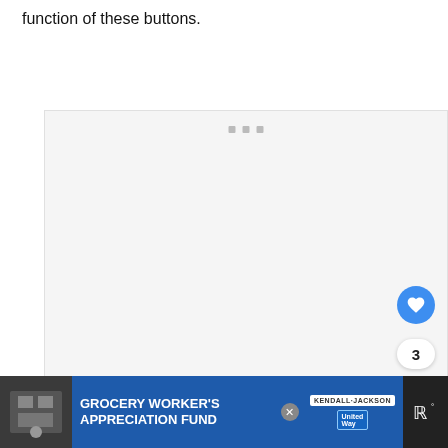function of these buttons.
[Figure (screenshot): A mostly blank/white screenshot area with three small gray square dots near the top center, a blue circular heart/like button on the right side with count '3' below it, a white circular share button, and a 'What's Next' panel showing 'What is the Ford F-150...' with a thumbnail.]
[Figure (screenshot): Advertisement bar at the bottom: dark background with a photo on the left, blue background area with 'GROCERY WORKER'S APPRECIATION FUND' text in white bold, Kendall Jackson and United Way logos, a close (X) button, and a music/weather app icon on the right.]